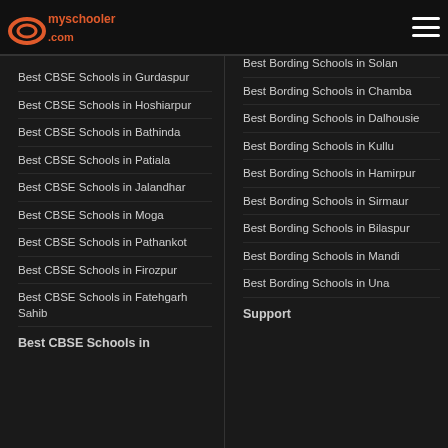myschoolr.com
Best CBSE Schools in Gurdaspur
Best CBSE Schools in Hoshiarpur
Best CBSE Schools in Bathinda
Best CBSE Schools in Patiala
Best CBSE Schools in Jalandhar
Best CBSE Schools in Moga
Best CBSE Schools in Pathankot
Best CBSE Schools in Firozpur
Best CBSE Schools in Fatehgarh Sahib
Best Bording Schools in Solan
Best Bording Schools in Chamba
Best Bording Schools in Dalhousie
Best Bording Schools in Kullu
Best Bording Schools in Hamirpur
Best Bording Schools in Sirmaur
Best Bording Schools in Bilaspur
Best Bording Schools in Mandi
Best Bording Schools in Una
Best CBSE Schools in
Support